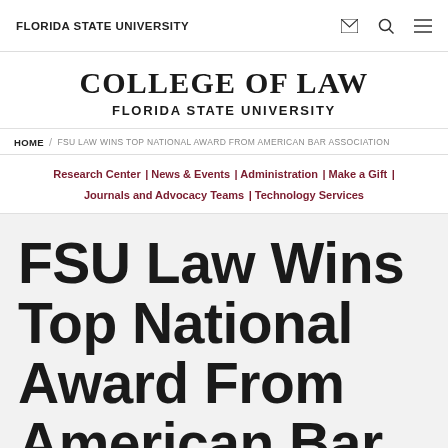FLORIDA STATE UNIVERSITY
COLLEGE OF LAW
FLORIDA STATE UNIVERSITY
HOME / FSU LAW WINS TOP NATIONAL AWARD FROM AMERICAN BAR ASSOCIATION
Research Center | News & Events | Administration | Make a Gift | Journals and Advocacy Teams | Technology Services
FSU Law Wins Top National Award From American Bar